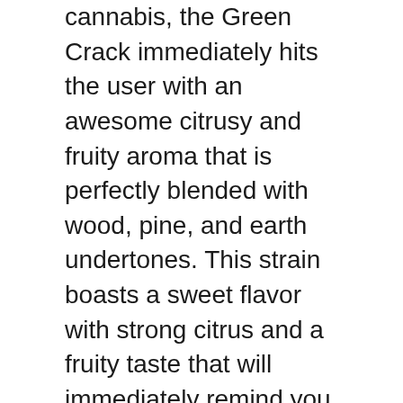cannabis, the Green Crack immediately hits the user with an awesome citrusy and fruity aroma that is perfectly blended with wood, pine, and earth undertones. This strain boasts a sweet flavor with strong citrus and a fruity taste that will immediately remind you of a ripe mango. Users experience a tangy taste left on the tongue upon inhale and stay there after the first smoke is gone, leaving the palates satisfied yet wanting more.
When it comes to Green Crack's classic appearance, this marijuana has greenish buds with yellow hues with leaves that are long and relatively thin. Upon exposure to lower temperatures, some Green Crack phenotypes gain purple streaks on their